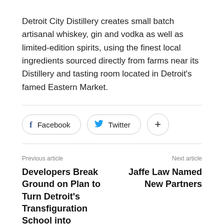Detroit City Distillery creates small batch artisanal whiskey, gin and vodka as well as limited-edition spirits, using the finest local ingredients sourced directly from farms near its Distillery and tasting room located in Detroit's famed Eastern Market.
[Figure (other): Social sharing buttons: Facebook, Twitter, and a plus/more button]
Previous article
Next article
Developers Break Ground on Plan to Turn Detroit's Transfiguration School into Affordable Housing
Jaffe Law Named New Partners